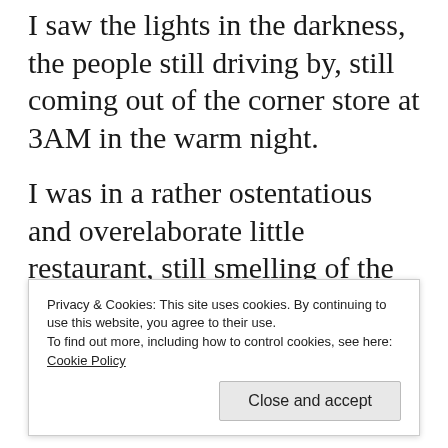I saw the lights in the darkness, the people still driving by, still coming out of the corner store at 3AM in the warm night.
I was in a rather ostentatious and overelaborate little restaurant, still smelling of the cigarette which, coming from a world in which it has
Privacy & Cookies: This site uses cookies. By continuing to use this website, you agree to their use.
To find out more, including how to control cookies, see here:
Cookie Policy
Close and accept